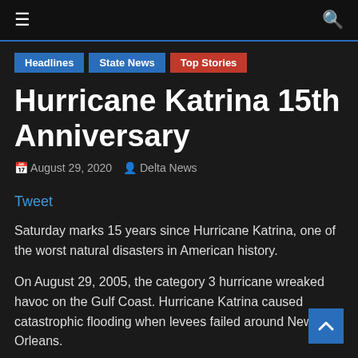≡  🔍
Headlines
State News
Top Stories
Hurricane Katrina 15th Anniversary
August 29, 2020  Delta News
Tweet
Saturday marks 15 years since Hurricane Katrina, one of the worst natural disasters in American history.
On August 29, 2005, the category 3 hurricane wreaked havoc on the Gulf Coast. Hurricane Katrina caused catastrophic flooding when levees failed around New Orleans.